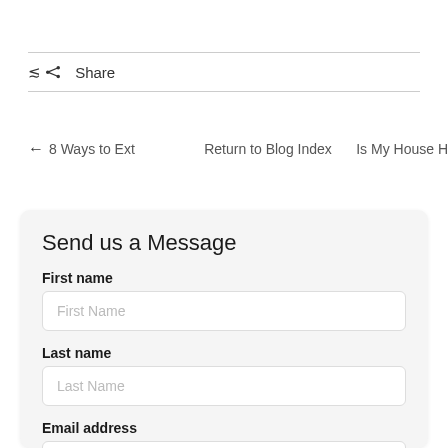Share
← 8 Ways to Ext    Return to Blog Index    Is My House H
Send us a Message
First name
First Name
Last name
Last Name
Email address
Email